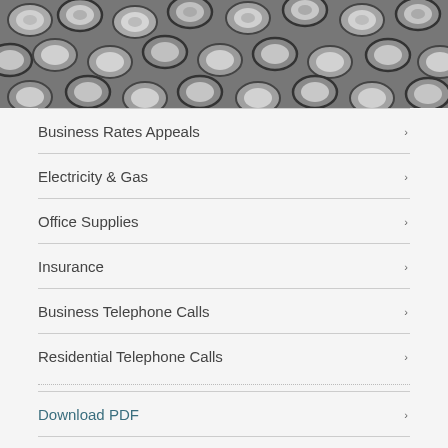[Figure (photo): Black and white close-up photo of cylindrical metal objects (possibly weights or drums) arranged together]
Business Rates Appeals
Electricity & Gas
Office Supplies
Insurance
Business Telephone Calls
Residential Telephone Calls
Download PDF
Send this page to a friend